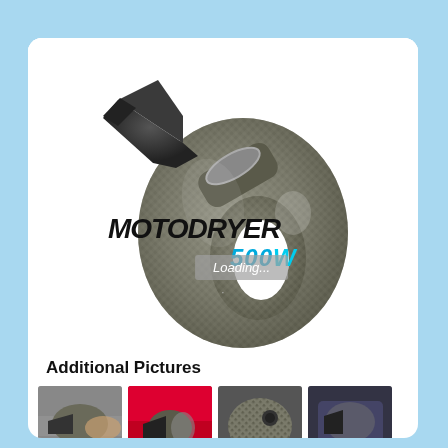[Figure (photo): Product photo of MotoDryer 500W handheld air blower with carbon fiber texture body, shown on white background. Overlaid with branded text 'MOTODRYER' and '500W' in cyan. A semi-transparent gray 'Loading...' overlay appears at bottom center.]
Additional Pictures
[Figure (photo): Thumbnail 1: MotoDryer in use, blowing air on a surface, side view]
[Figure (photo): Thumbnail 2: MotoDryer with red background, close-up of nozzle area]
[Figure (photo): Thumbnail 3: Close-up of carbon fiber body and button of MotoDryer]
[Figure (photo): Thumbnail 4: MotoDryer in use or accessory view, dark background]